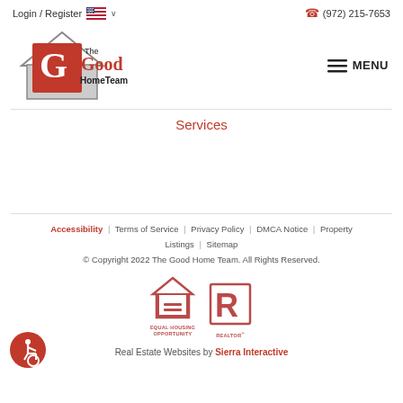Login / Register  🇺🇸 ∨    (972) 215-7653
[Figure (logo): The Good Home Team logo: a house outline with a large red G, the text 'The Good HomeTeam' in black and red]
≡ MENU
Services
Accessibility  |  Terms of Service  |  Privacy Policy  |  DMCA Notice  |  Property Listings  |  Sitemap
© Copyright 2022 The Good Home Team. All Rights Reserved.
[Figure (logo): Equal Housing Opportunity logo in red/pink]
[Figure (logo): REALTOR® logo in red/pink]
[Figure (logo): Accessibility icon: person in wheelchair on red circle]
Real Estate Websites by Sierra Interactive